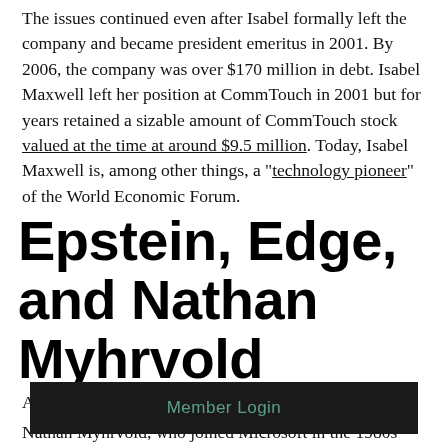The issues continued even after Isabel formally left the company and became president emeritus in 2001. By 2006, the company was over $170 million in debt. Isabel Maxwell left her position at CommTouch in 2001 but for years retained a sizable amount of CommTouch stock valued at the time at around $9.5 million. Today, Isabel Maxwell is, among other things, a “technology pioneer” of the World Economic Forum.
Epstein, Edge, and Nathan Myhrvold
Another indication of a relationship between Epstein and Nathan Myhrvold, who joined Microsoft in the 1980s